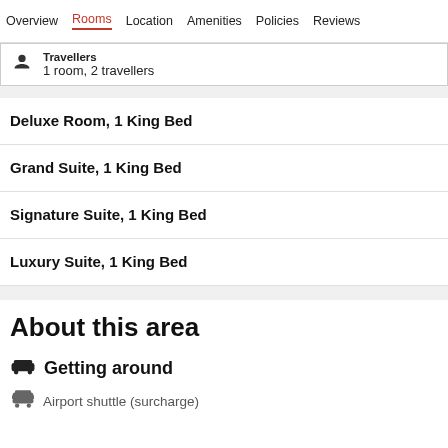Overview  Rooms  Location  Amenities  Policies  Reviews
Travellers
1 room, 2 travellers
Deluxe Room, 1 King Bed
Grand Suite, 1 King Bed
Signature Suite, 1 King Bed
Luxury Suite, 1 King Bed
About this area
Getting around
Airport shuttle (surcharge)